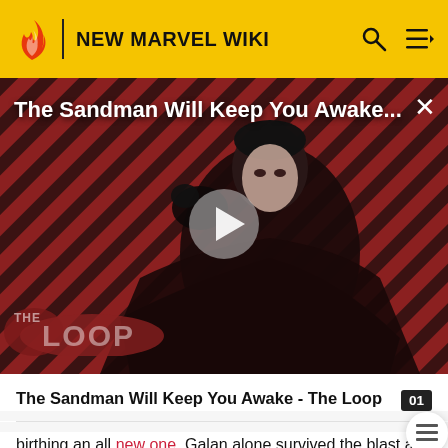NEW MARVEL WIKI
[Figure (screenshot): Video thumbnail showing a dark-cloaked figure holding a raven against a red and black diagonal striped background. Title overlay reads 'The Sandman Will Keep You Awake...' with play button and THE LOOP logo watermark.]
The Sandman Will Keep You Awake - The Loop
birthing an all new one. Galan alone survived the blast and was transformed into Galactus.
Silver Surfer